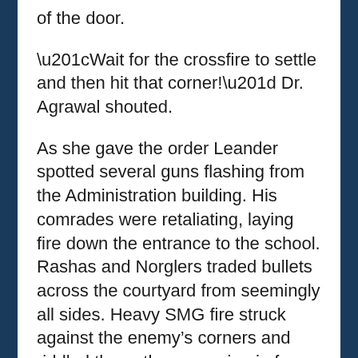of the door.
“Wait for the crossfire to settle and then hit that corner!” Dr. Agrawal shouted.
As she gave the order Leander spotted several guns flashing from the Administration building. His comrades were retaliating, laying fire down the entrance to the school. Rashas and Norglers traded bullets across the courtyard from seemingly all sides. Heavy SMG fire struck against the enemy’s corners and riddled the pathway coming in from the edge of the hill.